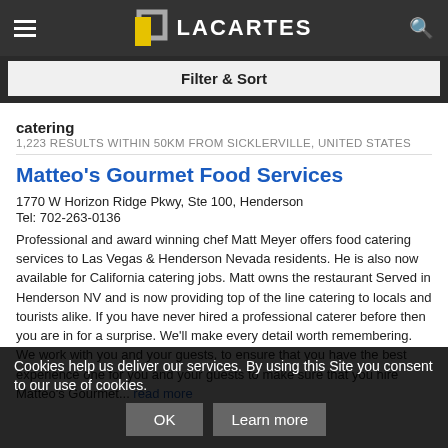LACARTES
Filter & Sort
catering
1,223 RESULTS WITHIN 50KM FROM SICKLERVILLE, UNITED STATES
Matteo's Gourmet Food Services
1770 W Horizon Ridge Pkwy, Ste 100, Henderson
Tel: 702-263-0136
Professional and award winning chef Matt Meyer offers food catering services to Las Vegas & Henderson Nevada residents. He is also now available for California catering jobs. Matt owns the restaurant Served in Henderson NV and is now providing top of the line catering to locals and tourists alike. If you have never hired a professional caterer before then you are in for a surprise. We'll make every detail worth remembering. We work ... hire Matteo's Gourmet... read more
Cookies help us deliver our services. By using this Site you consent to our use of cookies.